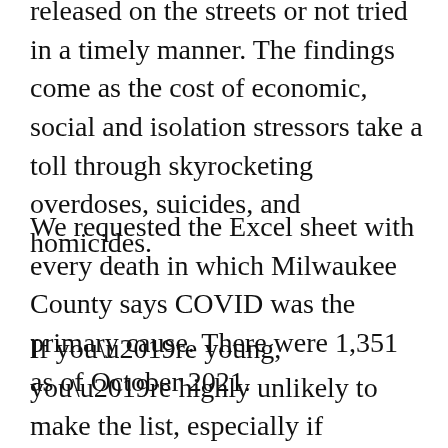released on the streets or not tried in a timely manner. The findings come as the cost of economic, social and isolation stressors take a toll through skyrocketing overdoses, suicides, and homicides.
We requested the Excel sheet with every death in which Milwaukee County says COVID was the primary cause. There were 1,351 as of October 2021.
If you’re young, you’re highly unlikely to make the list, especially if you’re otherwise healthy. The average age: 74